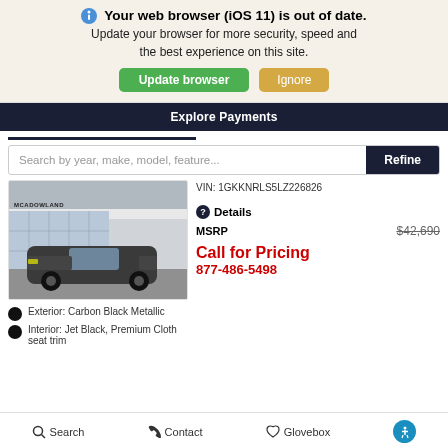🌐 Your web browser (iOS 11) is out of date. Update your browser for more security, speed and the best experience on this site.
Update browser | Ignore
Explore Payments
Search by year, make, model, feature...
Refine
[Figure (photo): GMC SUV (dark grey) parked in front of McAdowland dealership]
VIN: 1GKKNRLS5LZ226826
Details
MSRP $42,690
Call for Pricing 877-486-5498
Exterior: Carbon Black Metallic
Interior: Jet Black, Premium Cloth seat trim
Search  Contact  Glovebox  [accessibility icon]